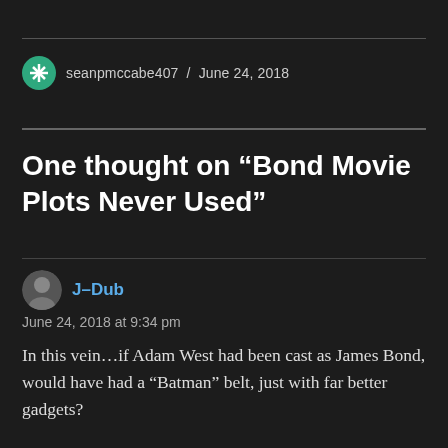seanpmccabe407 / June 24, 2018
One thought on “Bond Movie Plots Never Used”
J-Dub
June 24, 2018 at 9:34 pm
In this vein…if Adam West had been cast as James Bond, would have had a “Batman” belt, just with far better gadgets?